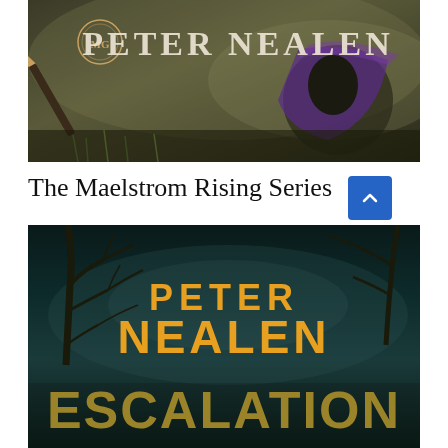[Figure (illustration): Book cover for a Peter Nealen novel — dark olive/brown outdoor scene with a figure in a cape/cloak, pen/pencil in foreground, 'MG' logo, text 'PETER NEALEN' in large serif caps]
The Maelstrom Rising Series
[Figure (illustration): Book cover for 'Escalation' by Peter Nealen — dark teal/moody background with bare winter tree branches, 'PETER NEALEN' in large orange bold text, 'ESCALATION' in large weathered white/gold text at bottom; blue scroll-up button overlay at bottom right]